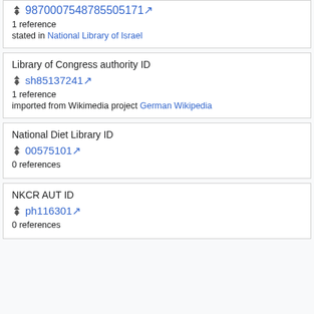9870007548785505171
1 reference
stated in National Library of Israel
Library of Congress authority ID
sh85137241
1 reference
imported from Wikimedia project German Wikipedia
National Diet Library ID
00575101
0 references
NKCR AUT ID
ph116301
0 references